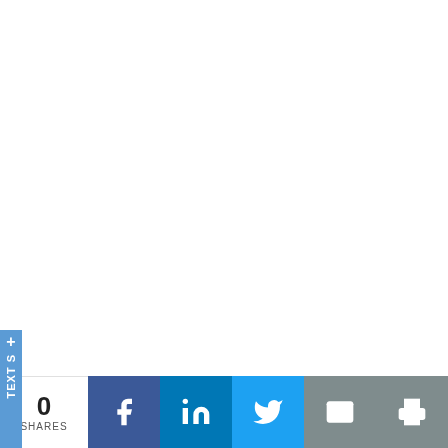[Figure (screenshot): White blank main content area]
[Figure (infographic): Vertical blue sidebar with plus icon and rotated 'Text S' label]
[Figure (infographic): Social share bar at bottom with 0 shares, Facebook, LinkedIn, Twitter, Email, and Print icons]